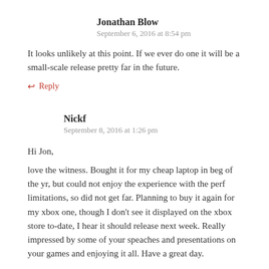Jonathan Blow
September 6, 2016 at 8:54 pm
It looks unlikely at this point. If we ever do one it will be a small-scale release pretty far in the future.
↩ Reply
Nickf
September 8, 2016 at 1:26 pm
Hi Jon,
love the witness. Bought it for my cheap laptop in beg of the yr, but could not enjoy the experience with the perf limitations, so did not get far. Planning to buy it again for my xbox one, though I don't see it displayed on the xbox store to-date, I hear it should release next week. Really impressed by some of your speaches and presentations on your games and enjoying it all. Have a great day.